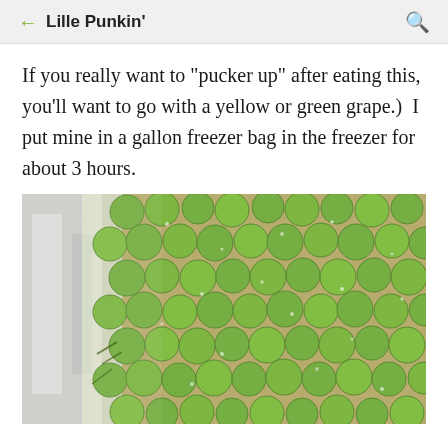Lille Punkin'
If you really want to "pucker up" after eating this, you'll want to go with a yellow or green grape.)  I put mine in a gallon freezer bag in the freezer for about 3 hours.
[Figure (photo): Photo of green grapes in a clear plastic gallon freezer bag, viewed from above, showing many round green grapes coated in frost/condensation, placed on what appears to be a wooden surface. A silver/foil item is visible on the left side.]